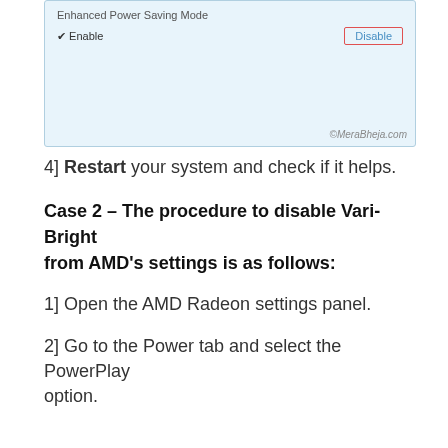[Figure (screenshot): Screenshot of a settings panel showing 'Enhanced Power Saving Mode' with a checkmark Enable option and a red-bordered 'Disable' button. Watermark reads ©MeraBheja.com]
4] Restart your system and check if it helps.
Case 2 – The procedure to disable Vari-Bright from AMD's settings is as follows:
1] Open the AMD Radeon settings panel.
2] Go to the Power tab and select the PowerPlay option.